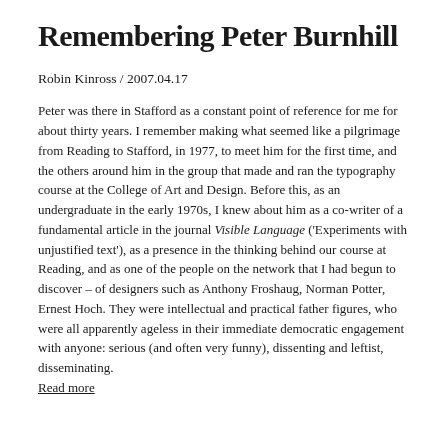Remembering Peter Burnhill
Robin Kinross / 2007.04.17
Peter was there in Stafford as a constant point of reference for me for about thirty years. I remember making what seemed like a pilgrimage from Reading to Stafford, in 1977, to meet him for the first time, and the others around him in the group that made and ran the typography course at the College of Art and Design. Before this, as an undergraduate in the early 1970s, I knew about him as a co-writer of a fundamental article in the journal Visible Language ('Experiments with unjustified text'), as a presence in the thinking behind our course at Reading, and as one of the people on the network that I had begun to discover – of designers such as Anthony Froshaug, Norman Potter, Ernest Hoch. They were intellectual and practical father figures, who were all apparently ageless in their immediate democratic engagement with anyone: serious (and often very funny), dissenting and leftist, disseminating. Read more